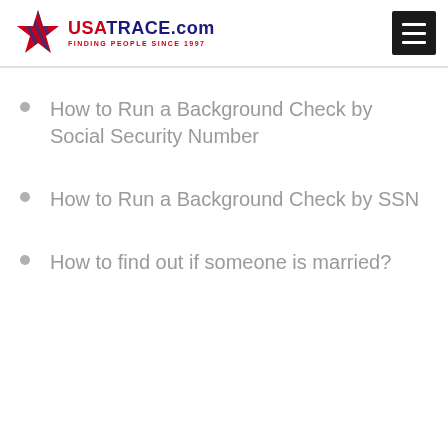USATRACE.com — FINDING PEOPLE SINCE 1997
How to Run a Background Check by Social Security Number
How to Run a Background Check by SSN
How to find out if someone is married?